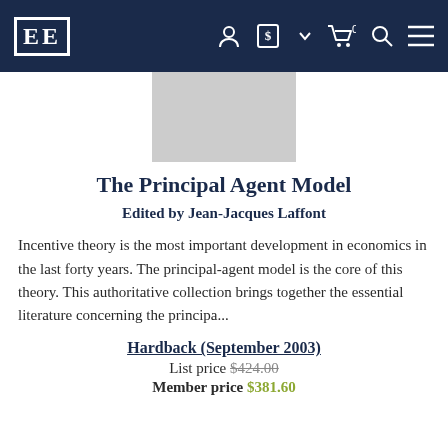EE [logo] navigation bar with account, currency, cart, search, menu icons
[Figure (illustration): Grey rectangle placeholder for book cover image]
The Principal Agent Model
Edited by Jean-Jacques Laffont
Incentive theory is the most important development in economics in the last forty years. The principal-agent model is the core of this theory. This authoritative collection brings together the essential literature concerning the principa...
Hardback (September 2003)
List price $424.00
Member price $381.60